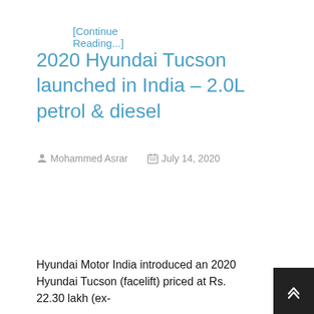[Continue Reading...]
2020 Hyundai Tucson launched in India – 2.0L petrol & diesel
Mohammed Asrar   July 14, 2020
Hyundai Motor India introduced an 2020 Hyundai Tucson (facelift) priced at Rs. 22.30 lakh (ex-